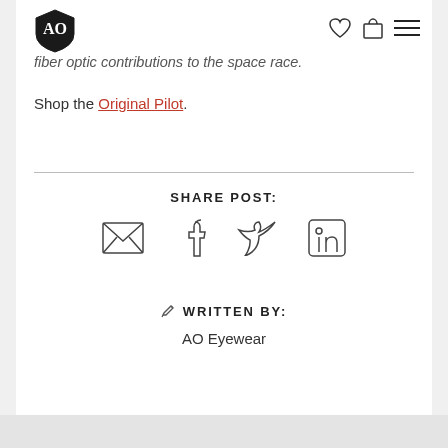AO Eyewear logo, wishlist, cart, and menu icons
fiber optic contributions to the space race.
Shop the Original Pilot.
SHARE POST:
[Figure (infographic): Social sharing icons: email, Facebook, Twitter, LinkedIn]
WRITTEN BY:
AO Eyewear